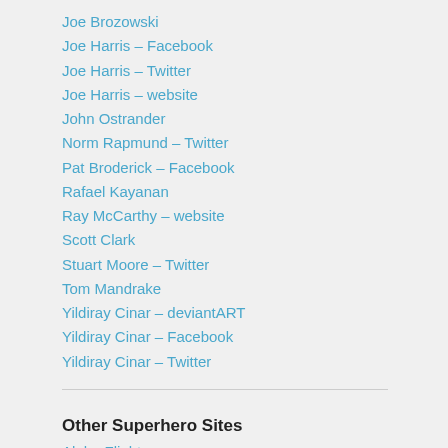Joe Brozowski
Joe Harris – Facebook
Joe Harris – Twitter
Joe Harris – website
John Ostrander
Norm Rapmund – Twitter
Pat Broderick – Facebook
Rafael Kayanan
Ray McCarthy – website
Scott Clark
Stuart Moore – Twitter
Tom Mandrake
Yildiray Cinar – deviantART
Yildiray Cinar – Facebook
Yildiray Cinar – Twitter
Other Superhero Sites
Alpha Flight
Ambush Bug
Aquaman
Atom and Captain Atom
Avengers